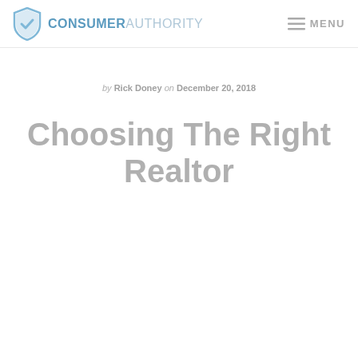CONSUMER AUTHORITY | MENU
by Rick Doney on December 20, 2018
Choosing The Right Realtor